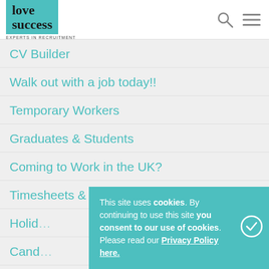[Figure (logo): Love Success Experts in Recruitment logo — teal background with bold black text 'love success' and tagline 'EXPERTS IN RECRUITMENT']
CV Builder
Walk out with a job today!!
Temporary Workers
Graduates & Students
Coming to Work in the UK?
Timesheets & Getting Paid
Holid…
Cand…
This site uses cookies. By continuing to use this site you consent to our use of cookies. Please read our Privacy Policy here.